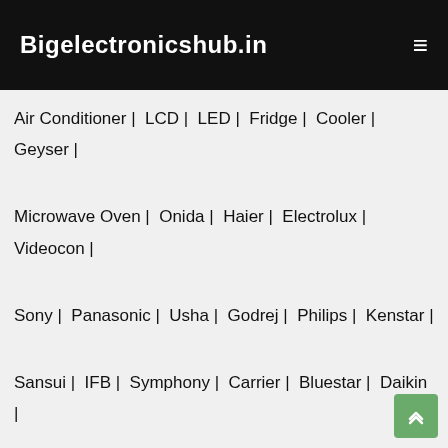Bigelectronicshub.in
Air Conditioner |  LCD |  LED |  Fridge |  Cooler |  Geyser |  Microwave Oven |  Onida |  Haier |  Electrolux |  Videocon |  Sony |  Panasonic |  Usha |  Godrej |  Philips |  Kenstar |  Sansui |  IFB |  Symphony |  Carrier |  Bluestar |  Daikin |  LG Call Center |  LG Customer Care |  LG Authorized Service Center |  Samsung Call Center |  Samsung Customer Care |  Samsung Authorized Service Center |  Whirlpool Call Center |  Whirlpool Customer Care |